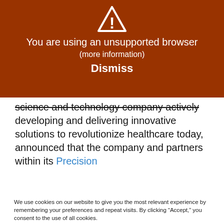[Figure (infographic): Brown warning banner with white triangle exclamation icon, text 'You are using an unsupported browser', '(more information)', and 'Dismiss']
science and technology company actively developing and delivering innovative solutions to revolutionize healthcare today, announced that the company and partners within its Precision
We use cookies on our website to give you the most relevant experience by remembering your preferences and repeat visits. By clicking “Accept,” you consent to the use of all cookies.
Do not sell my personal information.